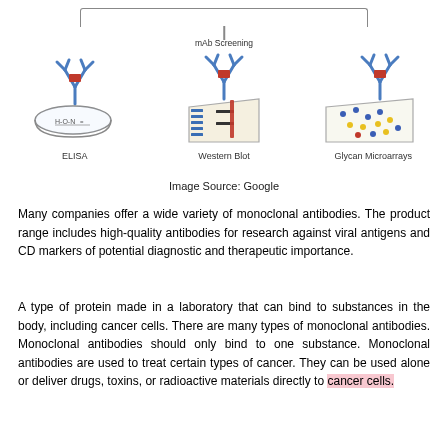[Figure (illustration): Diagram showing mAb Screening with three methods: ELISA (antibody over a petri dish with chemical formula), Western Blot (antibody over a blotting membrane with bands), and Glycan Microarrays (antibody over a microarray slide with colored dots). A connector line at the top leads to a vertical line labeled 'mAb Screening'.]
Image Source: Google
Many companies offer a wide variety of monoclonal antibodies. The product range includes high-quality antibodies for research against viral antigens and CD markers of potential diagnostic and therapeutic importance.
A type of protein made in a laboratory that can bind to substances in the body, including cancer cells. There are many types of monoclonal antibodies. Monoclonal antibodies should only bind to one substance. Monoclonal antibodies are used to treat certain types of cancer. They can be used alone or deliver drugs, toxins, or radioactive materials directly to cancer cells.